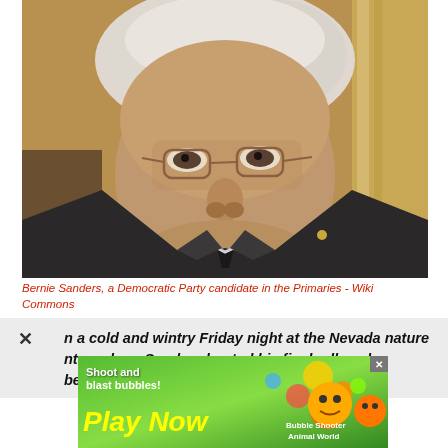[Figure (photo): Portrait photo of Bernie Sanders, an elderly man with white hair and glasses wearing a dark suit, seated indoors in front of a wooden background]
Bernie Sanders, a Democratic Party candidate in the Primaries - Wiki Commons
n a cold and wintry Friday night at the Nevada nature nter, where Sanders hosted his final rally a day before
[Figure (infographic): Mobile game advertisement with green background showing 'Shoot and blast bubbles! Play Now' text with cartoon characters and 'Bubble Shooter Animal World' game branding]